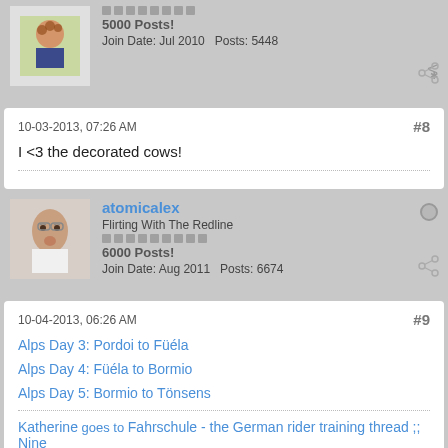5000 Posts!
Join Date: Jul 2010   Posts: 5448
10-03-2013, 07:26 AM
#8
I <3 the decorated cows!
atomicalex
Flirting With The Redline
6000 Posts!
Join Date: Aug 2011   Posts: 6674
10-04-2013, 06:26 AM
#9
Alps Day 3: Pordoi to Fü ela
Alps Day 4: Fü ela to Bormio
Alps Day 5: Bormio to Tönsens
Katherine goes to Fahrschule - the German rider training thread ;; Nine